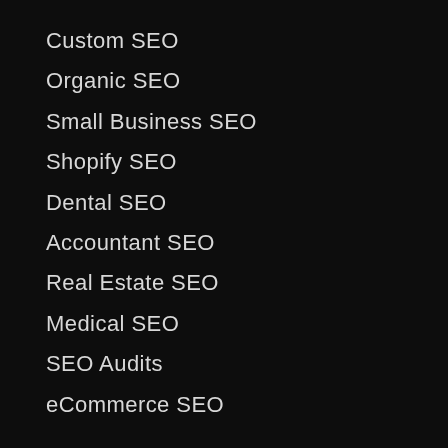Custom SEO
Organic SEO
Small Business SEO
Shopify SEO
Dental SEO
Accountant SEO
Real Estate SEO
Medical SEO
SEO Audits
eCommerce SEO